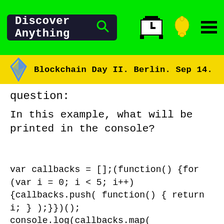Discover Anything
Blockchain Day II. Berlin. Sep 14.
question:
In this example, what will be printed in the console?
In this example, we loop 5 times, each time pushing a